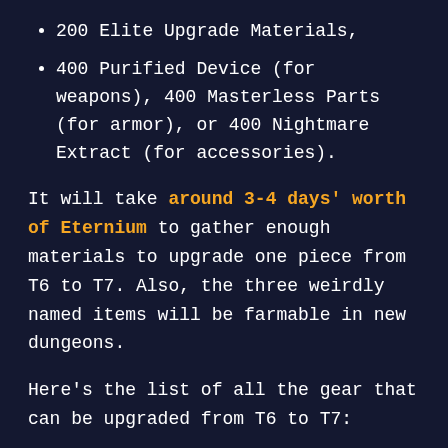200 Elite Upgrade Materials,
400 Purified Device (for weapons), 400 Masterless Parts (for armor), or 400 Nightmare Extract (for accessories).
It will take around 3-4 days' worth of Eternium to gather enough materials to upgrade one piece from T6 to T7. Also, the three weirdly named items will be farmable in new dungeons.
Here's the list of all the gear that can be upgraded from T6 to T7:
Maze,
Gordias,
Hummingbird,